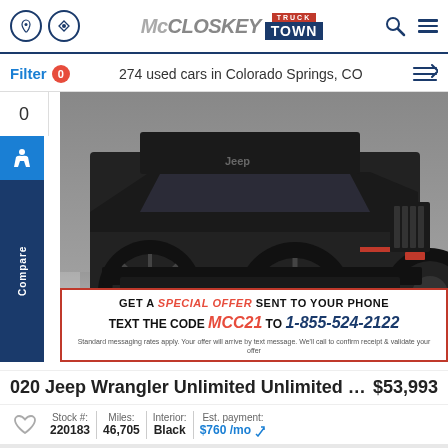McCloskey Truck Town — nav bar with phone icon, directions icon, logo, search, menu
Filter 0   274 used cars in Colorado Springs, CO
[Figure (photo): Black Jeep Wrangler Unlimited from the front-low angle on checkered garage floor, showing large black off-road wheels and tires. Red border promotional banner overlaid at bottom of image: GET A SPECIAL OFFER SENT TO YOUR PHONE TEXT THE CODE MCC21 TO 1-855-524-2122. Standard messaging rates apply. Your offer will arrive by text message. We'll call to confirm receipt & validate your offer.]
020 Jeep Wrangler Unlimited Unlimited Rubi...   $53,993
Stock #: 220183   Miles: 46,705   Interior: Black   Est. payment: $760 /mo
25